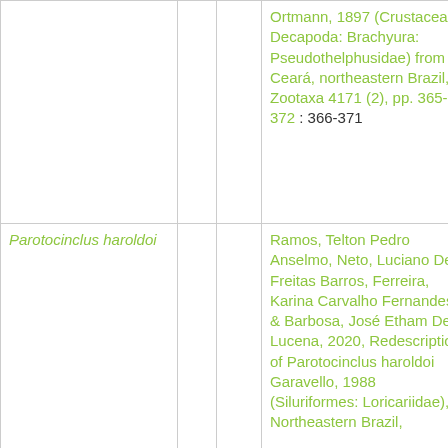| Name |  |  | Reference | Pages |
| --- | --- | --- | --- | --- |
|  |  |  | Ortmann, 1897 (Crustacea: Decapoda: Brachyura: Pseudothelphusidae) from Ceará, northeastern Brazil, Zootaxa 4171 (2), pp. 365-372 : 366-371 |  |
| Parotocinclus haroldoi |  |  | Ramos, Telton Pedro Anselmo, Neto, Luciano De Freitas Barros, Ferreira, Karina Carvalho Fernandes & Barbosa, José Etham De Lucena, 2020, Redescription of Parotocinclus haroldoi Garavello, 1988 (Siluriformes: Loricariidae), Northeastern Brazil, | 322-330 |